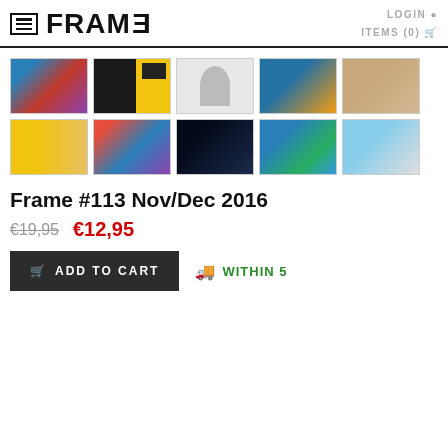FRAME — LOGIN  ITEMS (0)
[Figure (photo): Gallery of 10 thumbnail images of Frame magazine #113 Nov/Dec 2016, showing the cover and interior spreads arranged in two rows of five.]
Frame #113 Nov/Dec 2016
€19,95  €12,95
ADD TO CART   WITHIN 5